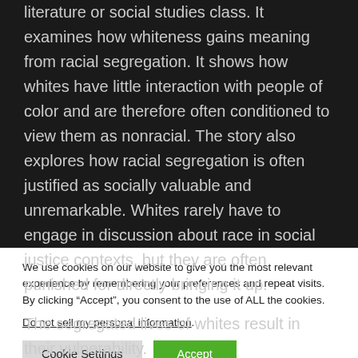literature or social studies class. It examines how whiteness gains meaning from racial segregation. It shows how whites have little interaction with people of color and are therefore often conditioned to view them as nonracial. The story also explores how racial segregation is often justified as socially valuable and unremarkable. Whites rarely have to engage in discussion about race in social justice contexts, but they are often punished for directly bringing it up.
The segregated lives of whites result in their vulnerability.
We use cookies on our website to give you the most relevant experience by remembering your preferences and repeat visits. By clicking “Accept”, you consent to the use of ALL the cookies.
Do not sell my personal information.